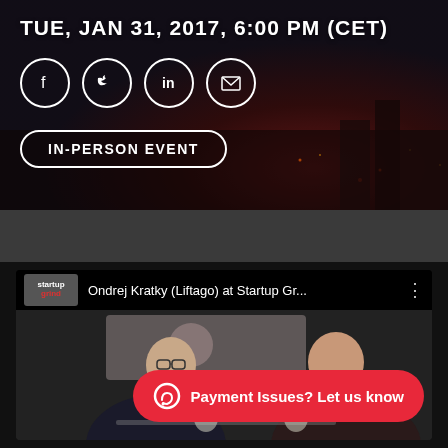TUE, JAN 31, 2017, 6:00 PM (CET)
[Figure (illustration): Social media sharing icons: Facebook, Twitter, LinkedIn, Email — white circles with icons]
IN-PERSON EVENT
[Figure (screenshot): YouTube video embed showing Ondrej Kratky (Liftago) at Startup Gr... with Startup Grind logo, two people talking at a panel, and a red Payment Issues button overlay]